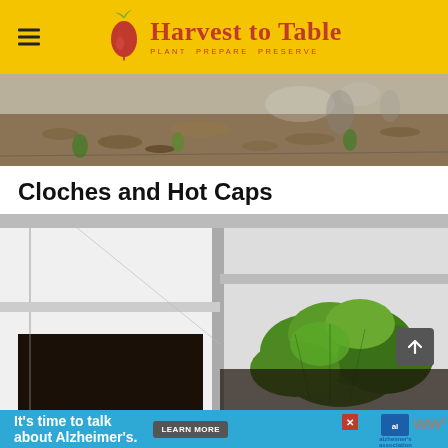Harvest to Table — PLANT PREPARE PRESERVE
[Figure (photo): Garden ground-level photo showing soil, dried leaves, and small green plant sprouts]
Cloches and Hot Caps
[Figure (photo): Interior of a cold frame/cloche structure showing white/clear panels, dark soil on the left, and a large leafy green vegetable plant (lettuce or similar) on the right]
[Figure (other): Advertisement banner: It's time to talk about Alzheimer's — Learn More — Alzheimer's Association logo]